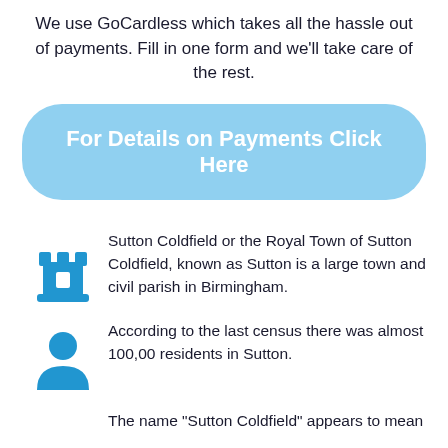We use GoCardless which takes all the hassle out of payments. Fill in one form and we'll take care of the rest.
[Figure (other): Blue rounded button with text 'For Details on Payments Click Here']
[Figure (other): Blue castle/rook chess piece icon]
Sutton Coldfield or the Royal Town of Sutton Coldfield, known as Sutton is a large town and civil parish in Birmingham.
[Figure (other): Blue person/user silhouette icon]
According to the last census there was almost 100,00 residents in Sutton.
The name "Sutton Coldfield" appears to mean